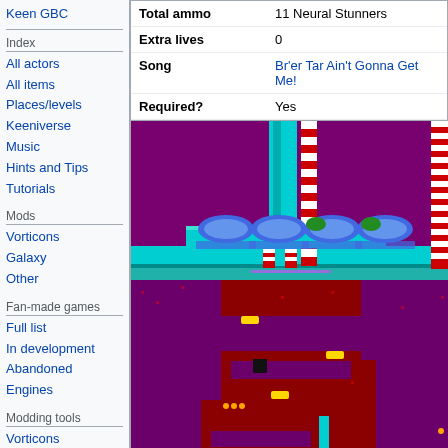Keen GBC
Index
All actors
All items
Places/levels
Keeniverse
Music
Hints and Tips
Tutorials
Mods
Vorticons
Galaxy
Other
Fan-made games
Full list
In development
Abandoned
Engines
Modding tools
Vorticons
| Property | Value |
| --- | --- |
| Total ammo | 11 Neural Stunners |
| Extra lives | 0 |
| Song | Br'er Tar Ain't Gonna Get Me! |
| Required? | Yes |
[Figure (screenshot): Gameplay screenshot of a Commander Keen style game level showing a purple/red tiled platformer environment with cyan pipes/structures, blue glowing platforms, and various game elements.]